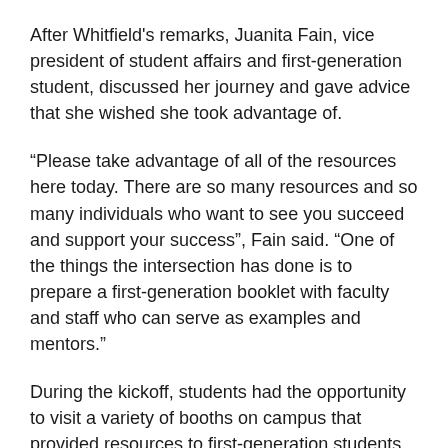After Whitfield's remarks, Juanita Fain, vice president of student affairs and first-generation student, discussed her journey and gave advice that she wished she took advantage of.
“Please take advantage of all of the resources here today. There are so many resources and so many individuals who want to see you succeed and support your success”, Fain said. “One of the things the intersection has done is to prepare a first-generation booklet with faculty and staff who can serve as examples and mentors.”
During the kickoff, students had the opportunity to visit a variety of booths on campus that provided resources to first-generation students. Some that were present at the event included University Libraries, UNLV Housing, and the 1st